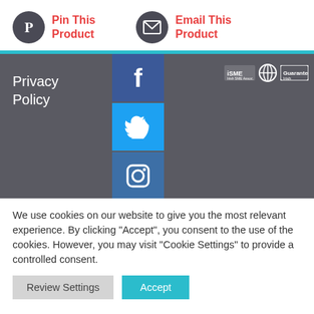[Figure (infographic): Pin This Product button with Pinterest icon circle and red text]
[Figure (infographic): Email This Product button with envelope icon circle and red text]
[Figure (infographic): Dark footer with Privacy Policy text, Facebook, Twitter, Instagram social icons, and ISME/partner logos]
We use cookies on our website to give you the most relevant experience. By clicking "Accept", you consent to the use of the cookies. However, you may visit "Cookie Settings" to provide a controlled consent.
Review Settings
Accept